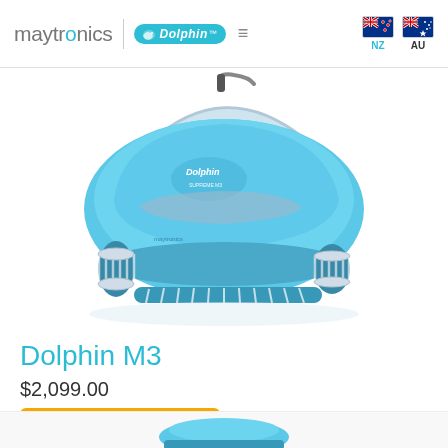maytronics | Dolphin  NZ  AU
[Figure (photo): Dolphin M3 robotic pool cleaner in light blue color with brushes and handle, shown at an angle on white background]
Dolphin M3
$2,099.00
Add to cart
[Figure (photo): Partial view of another Dolphin robotic pool cleaner at the bottom of the page]